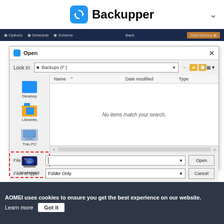[Figure (screenshot): Backupper application logo with blue circular sync icon and bold text 'Backupper', with a chevron/dropdown arrow on the right]
[Figure (screenshot): Dark navy toolbar strip showing Options, Schedule, Scheme buttons and a Back button plus orange 'Start Backup' button]
[Figure (screenshot): Windows-style Open file dialog showing: Look in: Backups (F:), left nav with Desktop, Libraries, This PC, Share/NAS (highlighted with red dashed border), file list area showing 'No items match your search.', File name and Files of type fields, Open and Cancel buttons]
AOMEI uses cookies to ensure you get the best experience on our website.
Learn more
Got it